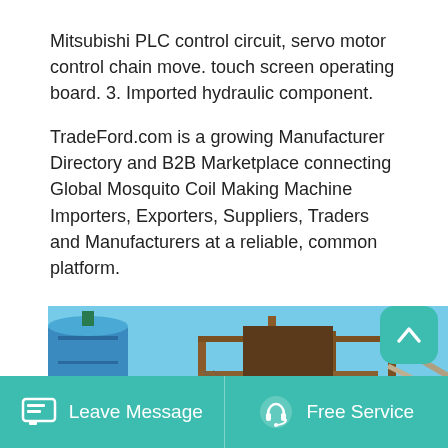Mitsubishi PLC control circuit, servo motor control chain move. touch screen operating board. 3. Imported hydraulic component.
TradeFord.com is a growing Manufacturer Directory and B2B Marketplace connecting Global Mosquito Coil Making Machine Importers, Exporters, Suppliers, Traders and Manufacturers at a reliable, common platform.
[Figure (photo): Industrial machinery/plant exterior with blue cylindrical tank on the left and a large metal scaffolding structure with equipment in the center and right, photographed under a clear blue sky.]
Leave Message   Free Service